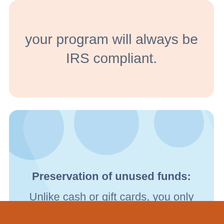your program will always be IRS compliant.
Preservation of unused funds: Unlike cash or gift cards, you only pay for what your employees use. Any account funds not spend will be returned to you at the end of the plan year.
[Figure (photo): Bottom orange/amber strip with partial photo of people]